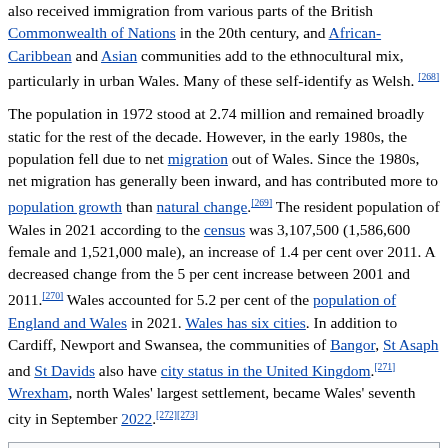also received immigration from various parts of the British Commonwealth of Nations in the 20th century, and African-Caribbean and Asian communities add to the ethnocultural mix, particularly in urban Wales. Many of these self-identify as Welsh.[268]
The population in 1972 stood at 2.74 million and remained broadly static for the rest of the decade. However, in the early 1980s, the population fell due to net migration out of Wales. Since the 1980s, net migration has generally been inward, and has contributed more to population growth than natural change.[269] The resident population of Wales in 2021 according to the census was 3,107,500 (1,586,600 female and 1,521,000 male), an increase of 1.4 per cent over 2011. A decreased change from the 5 per cent increase between 2001 and 2011.[270] Wales accounted for 5.2 per cent of the population of England and Wales in 2021. Wales has six cities. In addition to Cardiff, Newport and Swansea, the communities of Bangor, St Asaph and St Davids also have city status in the United Kingdom.[271] Wrexham, north Wales' largest settlement, became Wales' seventh city in September 2022.[272][273]
| Largest cities or towns in Wales | Office for National Statistics 2011 Census[27... |
| --- | --- |